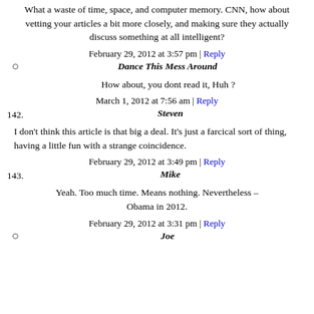What a waste of time, space, and computer memory. CNN, how about vetting your articles a bit more closely, and making sure they actually discuss something at all intelligent?
February 29, 2012 at 3:57 pm | Reply
Dance This Mess Around
How about, you dont read it, Huh ?
March 1, 2012 at 7:56 am | Reply
142. Steven
I don't think this article is that big a deal. It's just a farcical sort of thing, having a little fun with a strange coincidence.
February 29, 2012 at 3:49 pm | Reply
143. Mike
Yeah. Too much time. Means nothing. Nevertheless – Obama in 2012.
February 29, 2012 at 3:31 pm | Reply
Joe